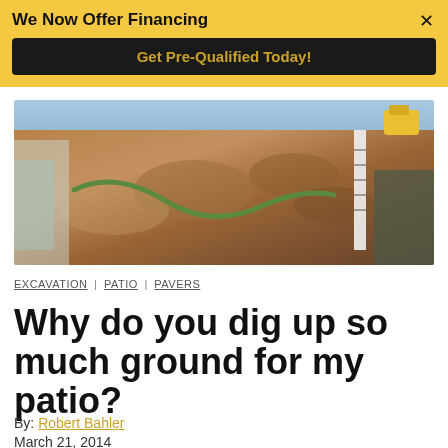We Now Offer Financing — Get Pre-Qualified Today!
[Figure (photo): Excavation site showing dug-up reddish-brown soil with a green hose and measuring tools visible, construction materials at edges]
EXCAVATION | PATIO | PAVERS
Why do you dig up so much ground for my patio?
By: Robert Bahler
March 21, 2014